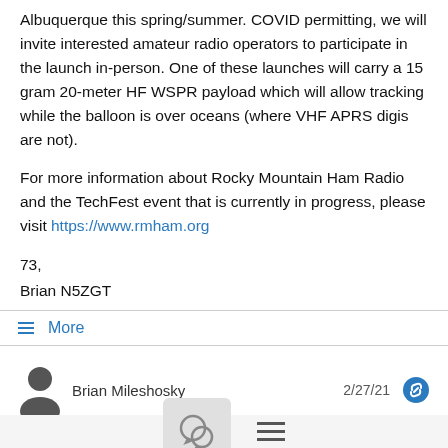Albuquerque this spring/summer. COVID permitting, we will invite interested amateur radio operators to participate in the launch in-person. One of these launches will carry a 15 gram 20-meter HF WSPR payload which will allow tracking while the balloon is over oceans (where VHF APRS digis are not).
For more information about Rocky Mountain Ham Radio and the TechFest event that is currently in progress, please visit https://www.rmham.org
73,
Brian N5ZGT
≡ More
Brian Mileshosky  2/27/21